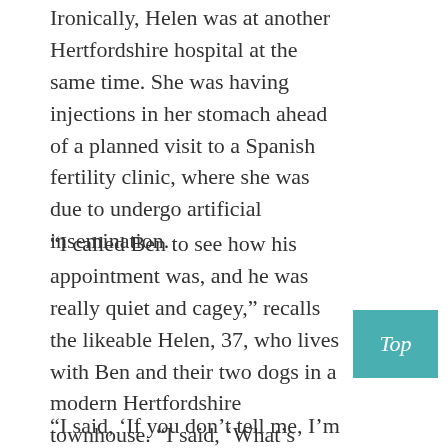Ironically, Helen was at another Hertfordshire hospital at the same time. She was having injections in her stomach ahead of a planned visit to a Spanish fertility clinic, where she was due to undergo artificial insemination.
“I called Ben to see how his appointment was, and he was really quiet and cagey,” recalls the likeable Helen, 37, who lives with Ben and their two dogs in a modern Hertfordshire townhouse. “I said, ‘What’s wrong?’ and he kept saying, ‘Nothing, it’s fine, but I need you to come later and have a meeting.’
“I said, ‘If you don’t tell me, I’m going to think it’s something really